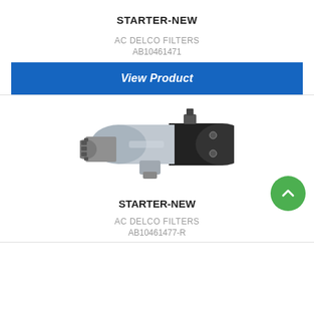STARTER-NEW
AC DELCO FILTERS
AB10461471
View Product
[Figure (photo): Photograph of a starter motor component (new), showing the cylindrical motor body with a gear/pinion end, metallic silver and black finish.]
STARTER-NEW
AC DELCO FILTERS
AB10461477-R